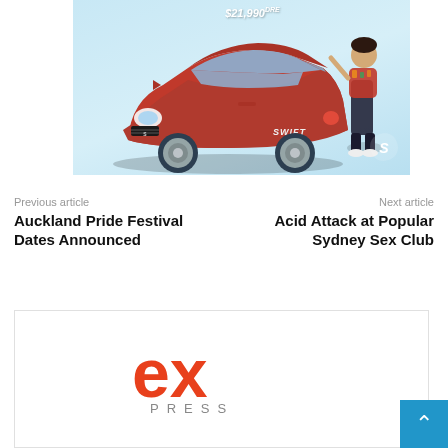[Figure (photo): Suzuki Swift car advertisement showing a red hatchback against a light blue background with a person posing and text partially visible at top showing pricing]
Previous article
Auckland Pride Festival Dates Announced
Next article
Acid Attack at Popular Sydney Sex Club
[Figure (logo): ex PRESS logo — 'ex' in large red letters and 'PRESS' in spaced grey capitals below]